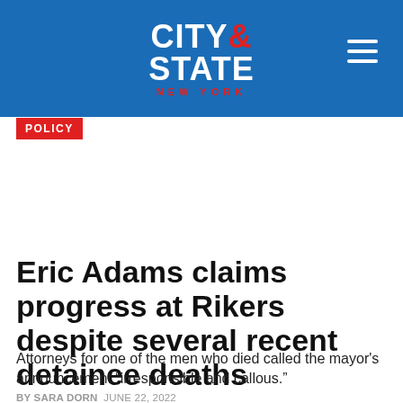CITY & STATE NEW YORK
POLICY
Eric Adams claims progress at Rikers despite several recent detainee deaths
Attorneys for one of the men who died called the mayor's announcement “irresponsible and callous.”
BY SARA DORN  JUNE 22, 2022